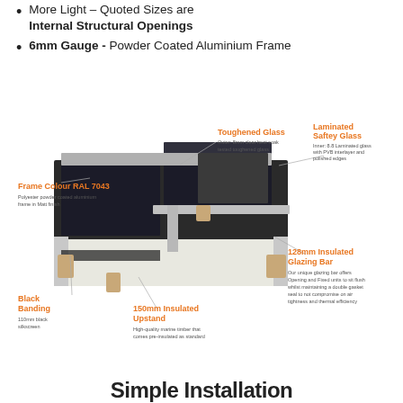More Light – Quoted Sizes are Internal Structural Openings
6mm Gauge - Powder Coated Aluminium Frame
[Figure (engineering-diagram): Cross-section diagram of a rooflight/skylight showing components: Toughened Glass (Outer: 8mm clear heat soak tested toughened glass), Laminated Saftey Glass (Inner: 8.8 Laminated glass with PVB interlayer and polished edges), Frame Colour RAL 7043 (Polyester powder coated aluminium frame in Matt finish), 128mm Insulated Glazing Bar, Black Banding (110mm black silkscreen), 150mm Insulated Upstand (High-quality marine timber that comes pre-insulated as standard)]
Simple Installation